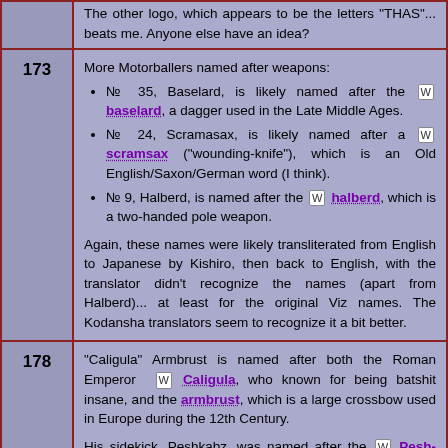The other logo, which appears to be the letters "THAS"... beats me. Anyone else have an idea?
173
№ 35, Baselard, is likely named after the baselard, a dagger used in the Late Middle Ages.
№ 24, Scramasax, is likely named after a scramsax ("wounding-knife"), which is an Old English/Saxon/German word (I think).
№ 9, Halberd, is named after the halberd, which is a two-handed pole weapon.
Again, these names were likely transliterated from English to Japanese by Kishiro, then back to English, with the translator didn't recognize the names (apart from Halberd)... at least for the original Viz names. The Kodansha translators seem to recognize it a bit better.
178
"Caligula" Armbrust is named after both the Roman Emperor Caligula, who known for being batshit insane, and the armbrust, which is a large crossbow used in Europe during the 12th Century.
His sidekick, Peshkabz, was named after the Pesh-kabz, which is a 17th Century Perso-Afghan knife designed to penetrate mail armor. Its name means "fore-grip" in Persian.